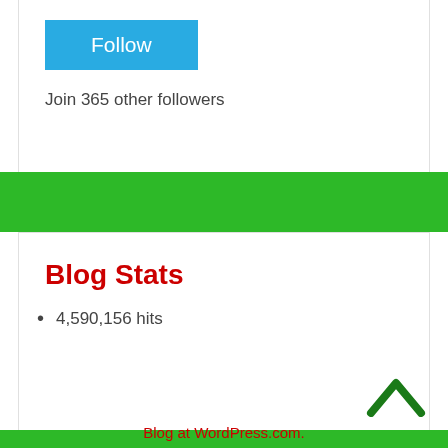[Figure (screenshot): Blue Follow button widget]
Join 365 other followers
Blog Stats
4,590,156 hits
Blog at WordPress.com.